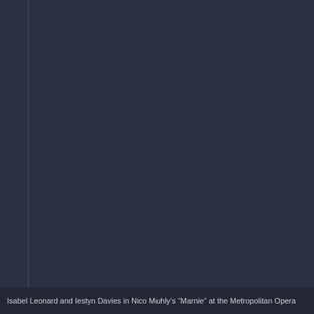[Figure (photo): Dark background photo area, mostly dark blue-gray, appearing to be a stage or performance setting for an opera. A thin vertical line runs along the left portion of the image area.]
Isabel Leonard and Iestyn Davies in Nico Muhly’s “Marnie” at the Metropolitan Opera